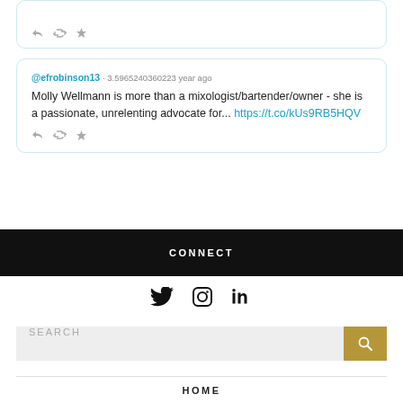[Figure (screenshot): Partial tweet card showing action icons (reply, retweet, favorite) in gray]
@efrobinson13 · 3.5965240360223 year ago
Molly Wellmann is more than a mixologist/bartender/owner - she is a passionate, unrelenting advocate for... https://t.co/kUs9RB5HQV
CONNECT
[Figure (infographic): Social media icons: Twitter bird, Instagram circle, LinkedIn 'in']
[Figure (infographic): Search bar with SEARCH placeholder text and gold search button]
HOME